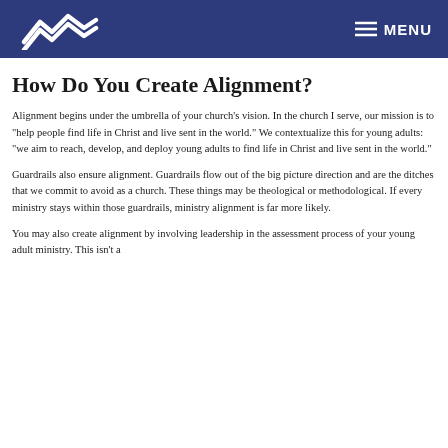MENU
How Do You Create Alignment?
Alignment begins under the umbrella of your church’s vision. In the church I serve, our mission is to “help people find life in Christ and live sent in the world.” We contextualize this for young adults: “we aim to reach, develop, and deploy young adults to find life in Christ and live sent in the world.”
Guardrails also ensure alignment. Guardrails flow out of the big picture direction and are the ditches that we commit to avoid as a church. These things may be theological or methodological. If every ministry stays within those guardrails, ministry alignment is far more likely.
You may also create alignment by involving leadership in the assessment process of your young adult ministry. This isn’t a